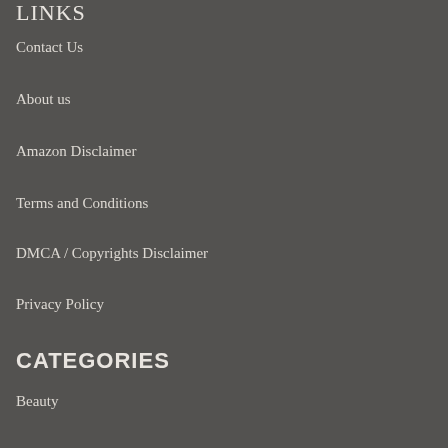LINKS
Contact Us
About us
Amazon Disclaimer
Terms and Conditions
DMCA / Copyrights Disclaimer
Privacy Policy
CATEGORIES
Beauty
Culture
Fashion
Fashion Final Editorial Team